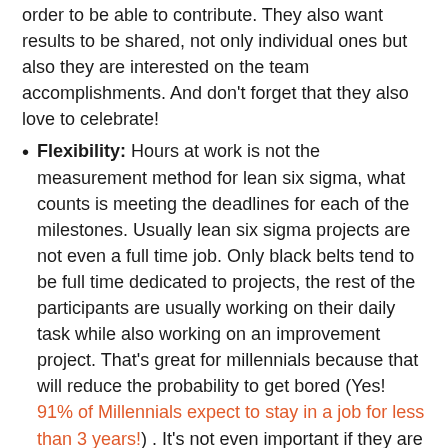order to be able to contribute. They also want results to be shared, not only individual ones but also they are interested on the team accomplishments. And don't forget that they also love to celebrate!
Flexibility: Hours at work is not the measurement method for lean six sigma, what counts is meeting the deadlines for each of the milestones. Usually lean six sigma projects are not even a full time job. Only black belts tend to be full time dedicated to projects, the rest of the participants are usually working on their daily task while also working on an improvement project. That's great for millennials because that will reduce the probability to get bored (Yes! 91% of Millennials expect to stay in a job for less than 3 years!) . It's not even important if they are working from home, or from a Starbucks, in Nueva Delhi or Silicon Valley as long as the project keep moving. Lately many companies like ExxonMobil, BP or JP Morgan have implemented continuous improvement projects to align processes across different countries through business support